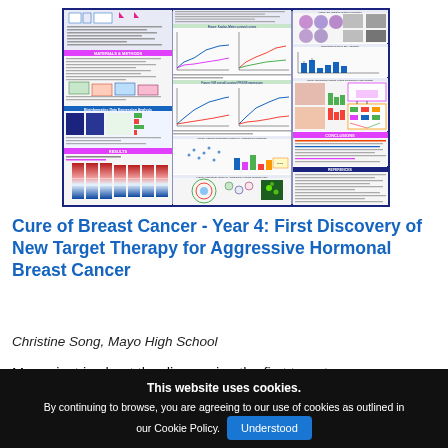[Figure (infographic): Scientific research poster titled about breast cancer target therapy, divided into three columns: left column shows Materials & Methods and Results sections with heatmaps and bar charts; middle column shows survival curves, dot plots, and a circular diagram; right column shows microscopy images, bar graphs, a flowchart (Conclusions), and References section.]
Cure of Breast Cancer - Year 4: First Discovery of New Target Therapy for Aggressive Hormonal Breast Cancer
Christine Song, Mayo High School
My project is about the discovering the first target
This website uses cookies.
By continuing to browse, you are agreeing to our use of cookies as outlined in our Cookie Policy. Understood